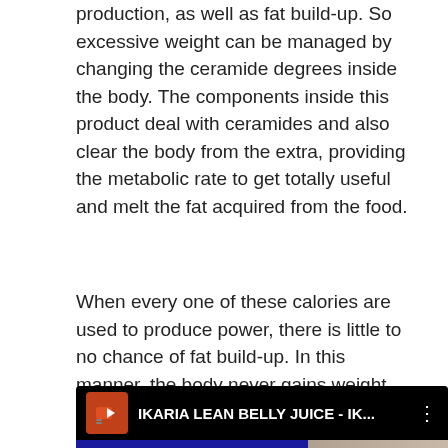production, as well as fat build-up. So excessive weight can be managed by changing the ceramide degrees inside the body. The components inside this product deal with ceramides and also clear the body from the extra, providing the metabolic rate to get totally useful and melt the fat acquired from the food.
When every one of these calories are used to produce power, there is little to no chance of fat build-up. In this manner, the body never gains weight, regardless of what you eat later.
[Figure (screenshot): Video thumbnail for 'IKARIA LEAN BELLY JUICE - IK...' showing a blue background with large white text 'EAN' and a partial face on the right side. An orange video icon appears on the left of the title bar.]